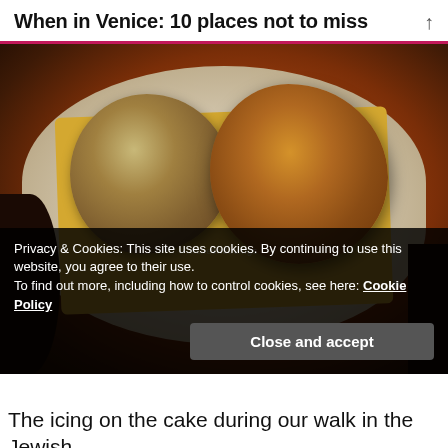When in Venice: 10 places not to miss
[Figure (photo): Photograph of two pieces of fried food (battered/breaded) on a yellow paper napkin on a white oval plate, set on a dark wooden table. A dark glass is visible on the left side.]
Privacy & Cookies: This site uses cookies. By continuing to use this website, you agree to their use.
To find out more, including how to control cookies, see here: Cookie Policy
Close and accept
The icing on the cake during our walk in the Jewish